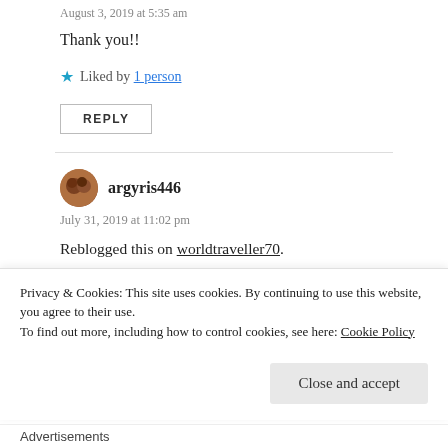August 3, 2019 at 5:35 am
Thank you!!
Liked by 1 person
REPLY
argyris446
July 31, 2019 at 11:02 pm
Reblogged this on worldtraveller70.
Privacy & Cookies: This site uses cookies. By continuing to use this website, you agree to their use.
To find out more, including how to control cookies, see here: Cookie Policy
Close and accept
Advertisements